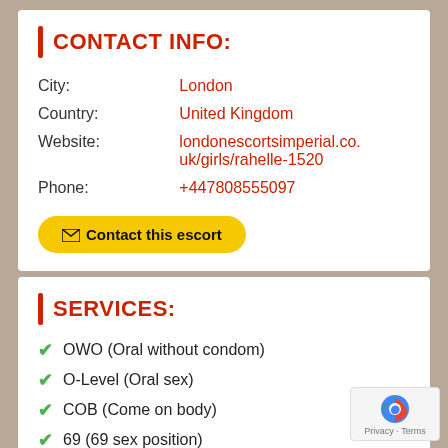CONTACT INFO:
| City: | London |
| Country: | United Kingdom |
| Website: | londonescortsimperial.co.uk/girls/rahelle-1520 |
| Phone: | +447808555097 |
✉ Contact this escort
SERVICES:
OWO (Oral without condom)
O-Level (Oral sex)
COB (Come on body)
69 (69 sex position)